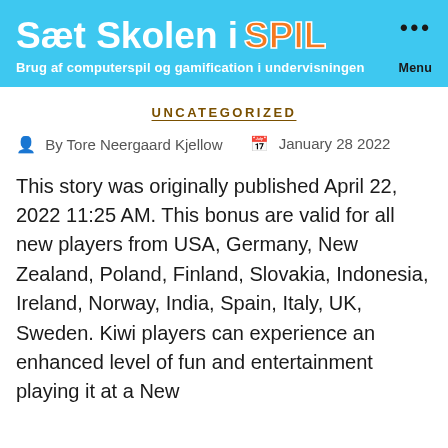Sæt Skolen i SPIL ... Menu
Brug af computerspil og gamification i undervisningen
UNCATEGORIZED
By Tore Neergaard Kjellow   January 28 2022
This story was originally published April 22, 2022 11:25 AM. This bonus are valid for all new players from USA, Germany, New Zealand, Poland, Finland, Slovakia, Indonesia, Ireland, Norway, India, Spain, Italy, UK, Sweden. Kiwi players can experience an enhanced level of fun and entertainment playing it at a New